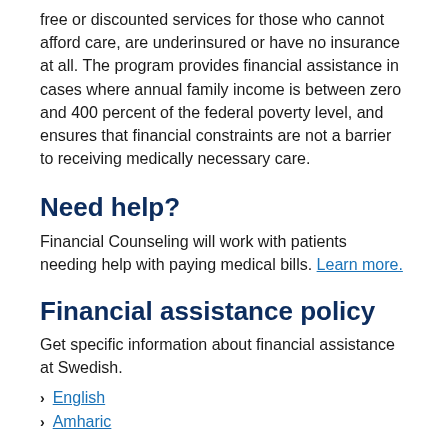free or discounted services for those who cannot afford care, are underinsured or have no insurance at all. The program provides financial assistance in cases where annual family income is between zero and 400 percent of the federal poverty level, and ensures that financial constraints are not a barrier to receiving medically necessary care.
Need help?
Financial Counseling will work with patients needing help with paying medical bills. Learn more.
Financial assistance policy
Get specific information about financial assistance at Swedish.
English
Amharic